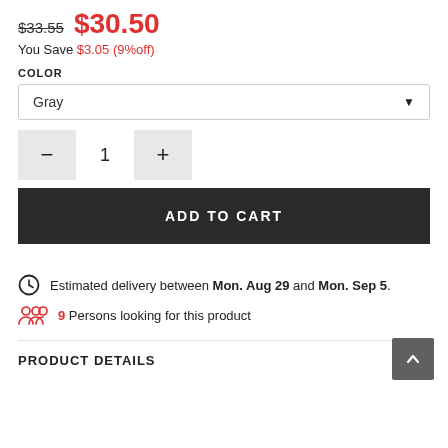$33.55  $30.50
You Save $3.05 (9% off)
COLOR
Gray
1
ADD TO CART
Estimated delivery between Mon. Aug 29 and Mon. Sep 5.
9 Persons looking for this product
PRODUCT DETAILS